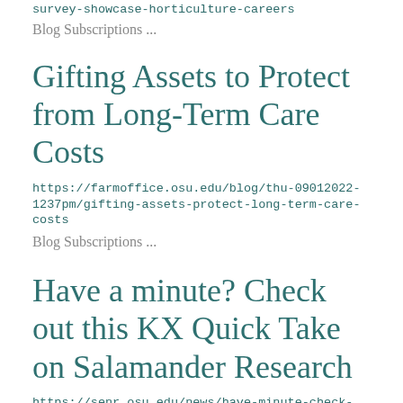survey-showcase-horticulture-careers
Blog Subscriptions ...
Gifting Assets to Protect from Long-Term Care Costs
https://farmoffice.osu.edu/blog/thu-09012022-1237pm/gifting-assets-protect-long-term-care-costs
Blog Subscriptions ...
Have a minute? Check out this KX Quick Take on Salamander Research
https://senr.osu.edu/news/have-minute-check-out-kx-quick-take-salamander-research
Blog Subscriptions ...